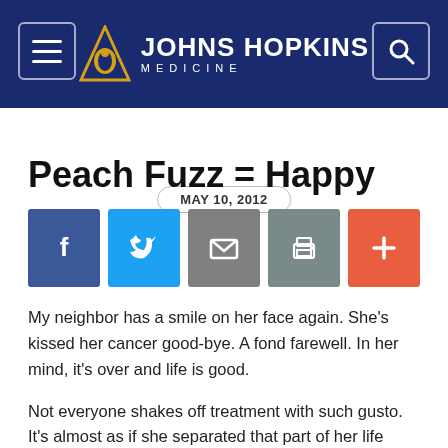Johns Hopkins Medicine
MAY 10, 2012
Peach Fuzz = Happy
[Figure (other): Social sharing buttons: Facebook, Twitter, Email, Print, Plus]
My neighbor has a smile on her face again.  She's kissed her cancer good-bye.  A fond farewell.  In her mind, it's over and life is good.
Not everyone shakes off treatment with such gusto.  It's almost as if she separated that part of her life from the rest of it.  Cancer happened, she dealt with it and now it's stuffed in a box, sealed and put away for good.  Adios, beast.
She may have declared freedom from her disease, but it hasn't quite done the same.  The signs of chemo are hanging on….she's still wearing big floppy hats, scarves and a really wonderful wig.  She even has just bangs to wear with ball caps